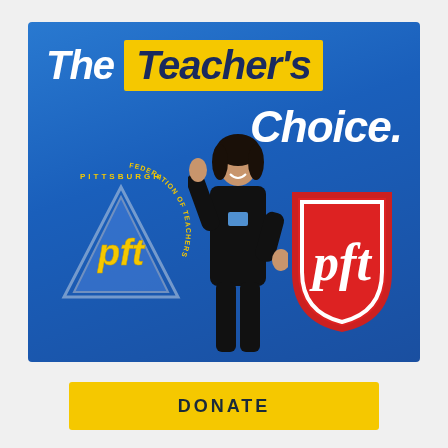[Figure (infographic): Blue background banner with 'The Teacher's Choice.' headline, Pittsburgh Federation of Teachers (PFT) triangle logo on left, PFT red shield logo on right, and a woman in black giving thumbs up in the center.]
DONATE